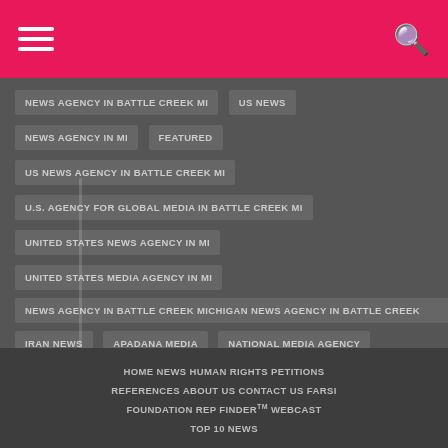NEWS AGENCY IN BATTLE CREEK MI
US NEWS
NEWS AGENCY IN MI
FEATURED
US NEWS AGENCY IN BATTLE CREEK MI
U.S. AGENCY FOR GLOBAL MEDIA IN BATTLE CREEK MI
UNITED STATES NEWS AGENCY IN MI
UNITED STATES MEDIA AGENCY IN MI
NEWS AGENCY IN BATTLE CREEK MICHIGAN NEWS AGENCY IN BATTLE CREEK
IRAN NEWS
APADANA MEDIA
NATIONAL MEDIA AGENCY
U.S. AGENCY FOR GLOBAL MEDIA
HOME  NEWS  HUMAN RIGHTS  PETITIONS  REFERENCES  ABOUT US  CONTACT US  FARSI  FOUNDATION  REP FINDER TM  WEBCAST  TOP 10 NEWS